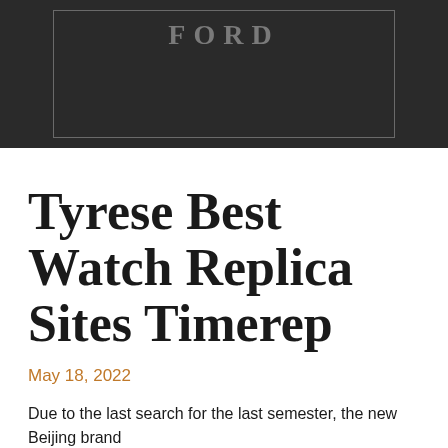[Figure (logo): Dark header banner with a bordered box containing partial logo text 'FORD' or similar brand name in gray letters on dark background]
Tyrese Best Watch Replica Sites Timerep
May 18, 2022
Due to the last search for the last semester, the new Beijing brand